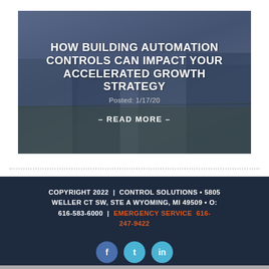[Figure (illustration): Dark blue-tinted hero banner card with background photo of a building exterior, overlaid with bold white text title, date, and read more link]
HOW BUILDING AUTOMATION CONTROLS CAN IMPACT YOUR ACCELERATED GROWTH STRATEGY
Posted: 1/17/20
– READ MORE –
COPYRIGHT 2022  |  CONTROL SOLUTIONS • 5805 WELLER CT SW, STE A WYOMING, MI 49509 • O: 616-583-6000  |  EMERGENCY SERVICE  616-247-9422